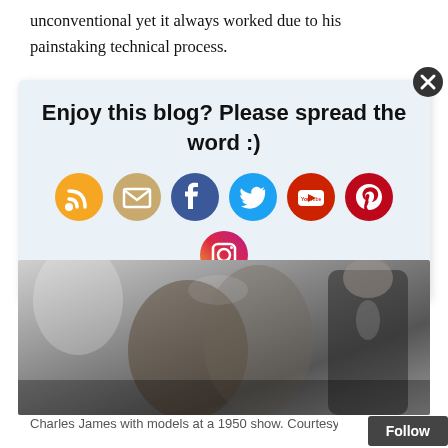unconventional yet it always worked due to his painstaking technical process.
[Figure (screenshot): A social sharing popup overlay with title 'Enjoy this blog? Please spread the word :)' and seven social media icon circles (RSS, Email, Facebook, Twitter, YouTube, Pinterest, Instagram) on a light blue background, with an X close button in the top right corner.]
[Figure (photo): Black and white photograph of Charles James with models at a 1950 fashion show.]
Charles James with models at a 1950 show. Courtesy